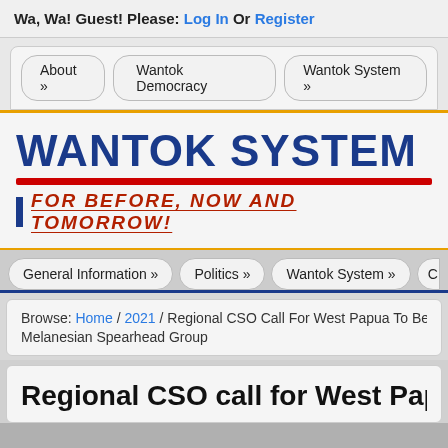Wa, Wa! Guest! Please: Log In Or Register
About »   Wantok Democracy   Wantok System »
WANTOK SYSTEM IS PER
FOR BEFORE, NOW AND TOMORROW!
General Information »   Politics »   Wantok System »   C
Browse: Home / 2021 / Regional CSO Call For West Papua To Be Allowed Melanesian Spearhead Group
Regional CSO call for West Papua to